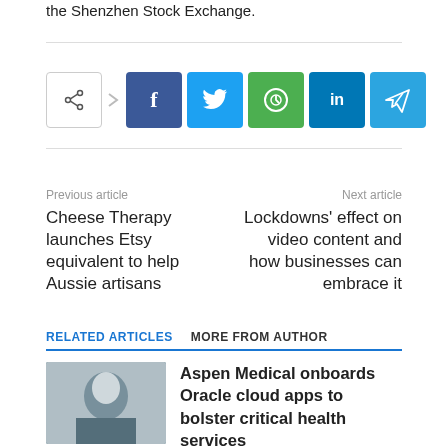the Shenzhen Stock Exchange.
[Figure (infographic): Social share buttons: share icon, Facebook (f), Twitter (bird), WhatsApp (phone), LinkedIn (in), Telegram (paper plane)]
Previous article
Next article
Cheese Therapy launches Etsy equivalent to help Aussie artisans
Lockdowns' effect on video content and how businesses can embrace it
RELATED ARTICLES   MORE FROM AUTHOR
Aspen Medical onboards Oracle cloud apps to bolster critical health services
[Figure (photo): Headshot of a woman with short light hair, outdoors background]